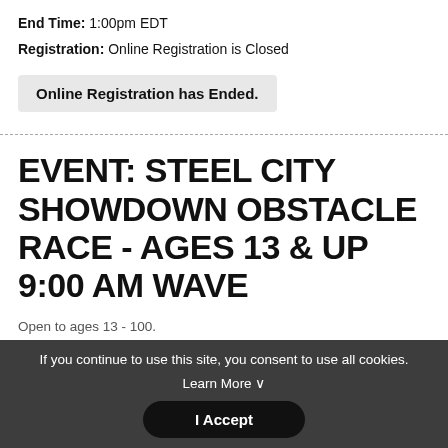End Time: 1:00pm EDT
Registration: Online Registration is Closed
Online Registration has Ended.
EVENT: STEEL CITY SHOWDOWN OBSTACLE RACE - AGES 13 & UP 9:00 AM WAVE
Open to ages 13 - 100.
Start Time: 9:00am EDT
End Time: 1:00pm EDT
If you continue to use this site, you consent to use all cookies. Learn More ∨
I Accept